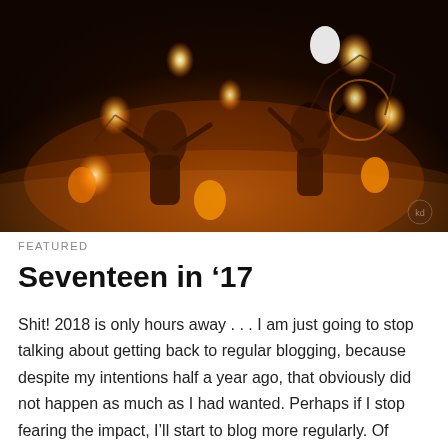[Figure (photo): Two fire dancers performing at night on a sandy beach, holding spinning fire props. The scene is lit orange-amber from the flames against a dark background.]
FEATURED
Seventeen in '17
Shit!  2018 is only hours away . . .  I am just going to stop talking about getting back to regular blogging, because despite my intentions half a year ago, that obviously did not happen as much as I had wanted.  Perhaps if I stop fearing the impact, I'll start to blog more regularly. Of...